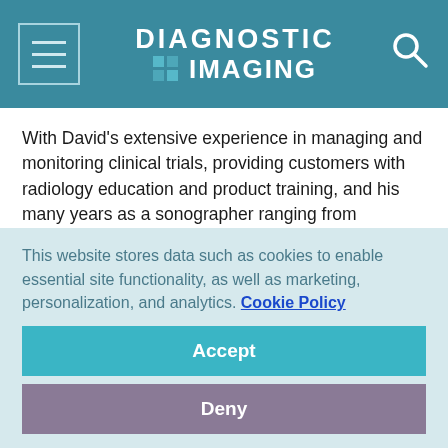DIAGNOSTIC IMAGING
With David's extensive experience in managing and monitoring clinical trials, providing customers with radiology education and product training, and his many years as a sonographer ranging from vascular technology to ultrasound in hospitals and trauma centers, he has earned his place as one of the top people to watch in radiology."
Vote for David here.
This website stores data such as cookies to enable essential site functionality, as well as marketing, personalization, and analytics. Cookie Policy
Accept
Deny